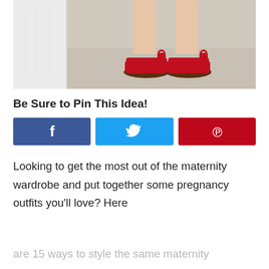[Figure (photo): Photo of person's lower legs wearing red sandals, standing on a light concrete/stone floor next to a white wall.]
Be Sure to Pin This Idea!
[Figure (infographic): Three social share buttons: Facebook (blue), Twitter (light blue), Pinterest (red) with respective icons f, bird, P]
Looking to get the most out of the maternity wardrobe and put together some pregnancy outfits you'll love? Here
are 15 ways to style the same maternity